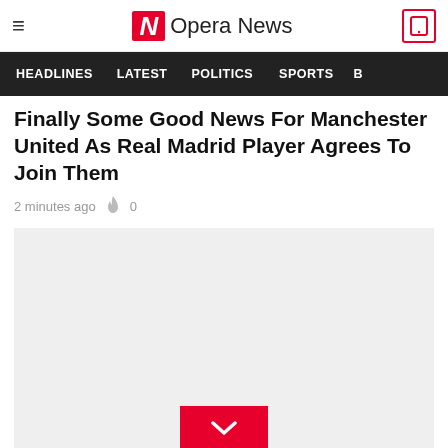Opera News
HEADLINES   LATEST   POLITICS   SPORTS
Finally Some Good News For Manchester United As Real Madrid Player Agrees To Join Them
2 minutes ago  🔥 0
[Figure (photo): Gray placeholder image with red chevron/download button at bottom center]